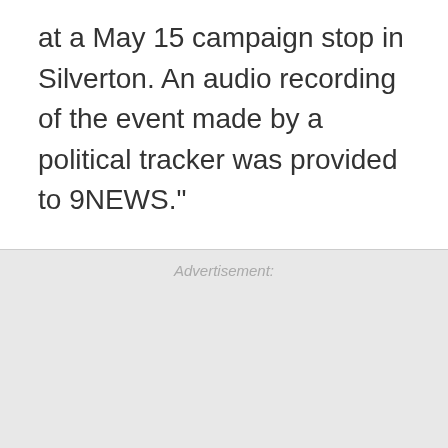at a May 15 campaign stop in Silverton. An audio recording of the event made by a political tracker was provided to 9NEWS."
Advertisement: